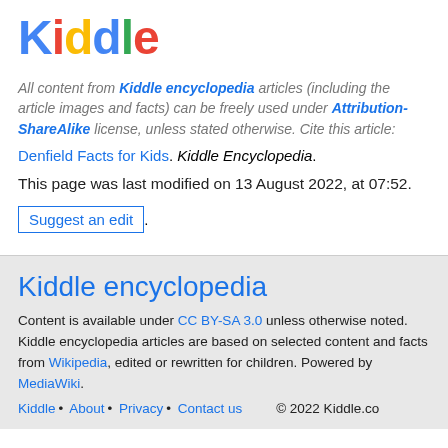[Figure (logo): Kiddle logo with multicolored letters: K(blue), i(red), d(yellow), d(blue), l(green), e(red)]
All content from Kiddle encyclopedia articles (including the article images and facts) can be freely used under Attribution-ShareAlike license, unless stated otherwise. Cite this article:
Denfield Facts for Kids. Kiddle Encyclopedia.
This page was last modified on 13 August 2022, at 07:52.
Suggest an edit.
Kiddle encyclopedia
Content is available under CC BY-SA 3.0 unless otherwise noted. Kiddle encyclopedia articles are based on selected content and facts from Wikipedia, edited or rewritten for children. Powered by MediaWiki.
Kiddle • About • Privacy • Contact us   © 2022 Kiddle.co